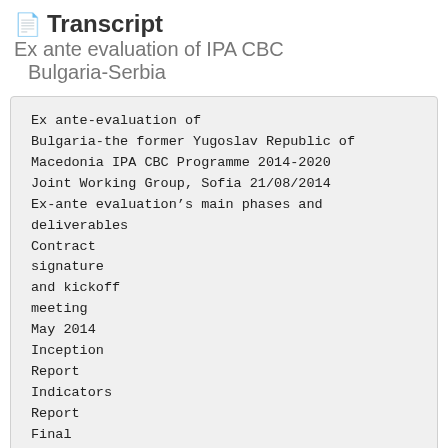Transcript  Ex ante evaluation of IPA CBC Bulgaria-Serbia
Ex ante-evaluation of
Bulgaria-the former Yugoslav Republic of
Macedonia IPA CBC Programme 2014-2020
Joint Working Group, Sofia 21/08/2014
Ex-ante evaluation's main phases and
deliverables
Contract
signature
and kickoff
meeting
May 2014
Inception
Report
Indicators
Report
Final
Report 1°